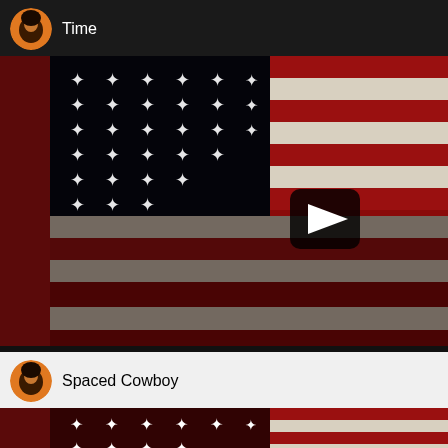Time
[Figure (screenshot): YouTube embedded video player showing an American flag album cover (Sly and the Family Stone - There's a Riot Goin' On) with a play button overlay]
Watch on YouTube
Spaced Cowboy
[Figure (screenshot): Partial view of another YouTube embedded video thumbnail showing a similar American flag image cropped at bottom]